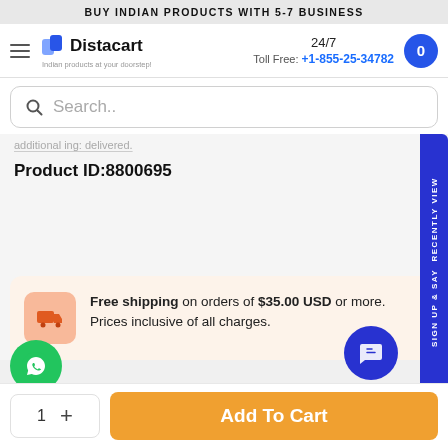BUY INDIAN PRODUCTS WITH 5-7 BUSINESS
[Figure (logo): Distacart logo with shopping bag icon and tagline 'Indian products at your doorstep']
24/7 Toll Free: +1-855-25-34782
Search..
additional ing: delivered.
Product ID:8800695
Free shipping on orders of $35.00 USD or more. Prices inclusive of all charges.
1 + Add To Cart